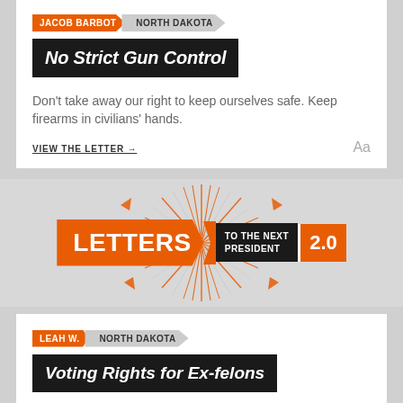JACOB BARBOT | NORTH DAKOTA
No Strict Gun Control
Don't take away our right to keep ourselves safe. Keep firearms in civilians' hands.
VIEW THE LETTER →
[Figure (logo): Letters to the Next President 2.0 logo with orange starburst graphic]
LEAH W. | NORTH DAKOTA
Voting Rights for Ex-felons